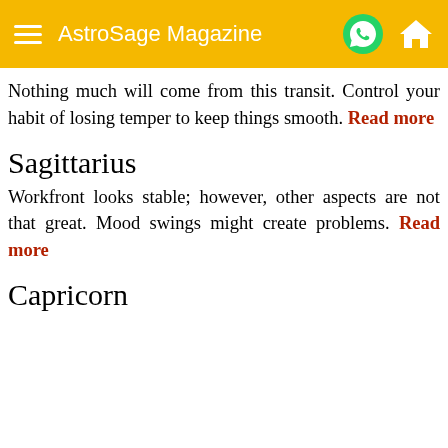AstroSage Magazine
Nothing much will come from this transit. Control your habit of losing temper to keep things smooth. Read more
Sagittarius
Workfront looks stable; however, other aspects are not that great. Mood swings might create problems. Read more
Capricorn